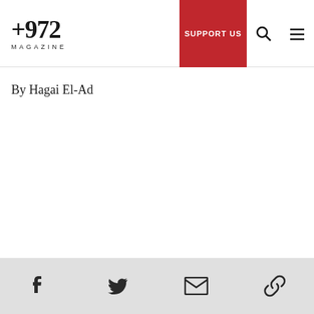+972 MAGAZINE
By Hagai El-Ad
Social sharing icons: Facebook, Twitter, Email, Link